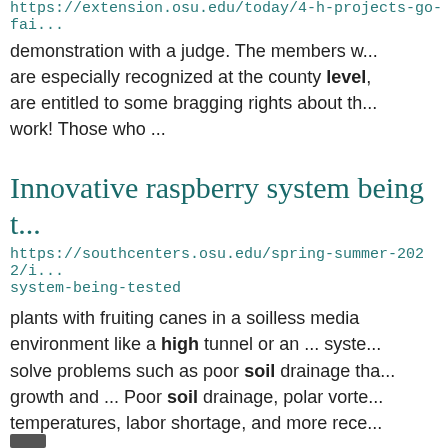https://extension.osu.edu/today/4-h-projects-go-fai... demonstration with a judge. The members w... are especially recognized at the county level, are entitled to some bragging rights about th... work! Those who ...
Innovative raspberry system being t...
https://southcenters.osu.edu/spring-summer-2022/i... system-being-tested
plants with fruiting canes in a soilless media environment like a high tunnel or an ... system solve problems such as poor soil drainage tha... growth and ... Poor soil drainage, polar vorte... temperatures, labor shortage, and more rece...